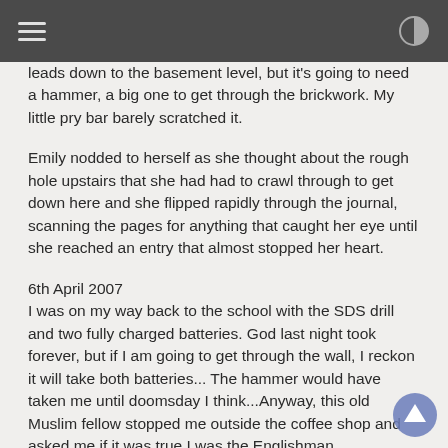[hamburger menu icon] [contrast toggle icon]
leads down to the basement level, but it's going to need a hammer, a big one to get through the brickwork. My little pry bar barely scratched it.
Emily nodded to herself as she thought about the rough hole upstairs that she had had to crawl through to get down here and she flipped rapidly through the journal, scanning the pages for anything that caught her eye until she reached an entry that almost stopped her heart.
6th April 2007
I was on my way back to the school with the SDS drill and two fully charged batteries. God last night took forever, but if I am going to get through the wall, I reckon it will take both batteries... The hammer would have taken me until doomsday I think...Anyway, this old Muslim fellow stopped me outside the coffee shop and asked me if it was true I was the Englishman investigating the school. I suppose my old friend had been talking. When I confirmed I was the very same Englishman, he became quite agitated and gripped my arm at the elbow, telling me I must not do it, that no good would come of digging up the past this way. Quite funny